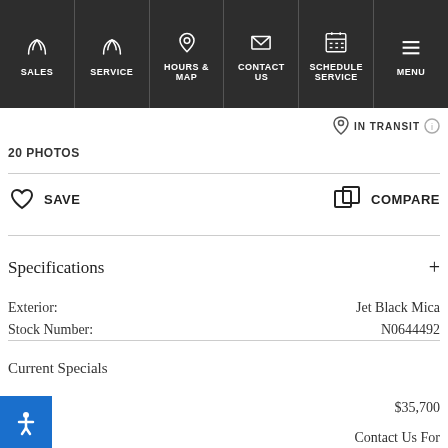SALES | SERVICE | HOURS & MAP | CONTACT US | SCHEDULE SERVICE | MENU
IN TRANSIT
20 PHOTOS
SAVE
COMPARE
Specifications
Exterior: Jet Black Mica
Stock Number: N0644492
Current Specials
MSRP: $35,700
Price: Contact Us For